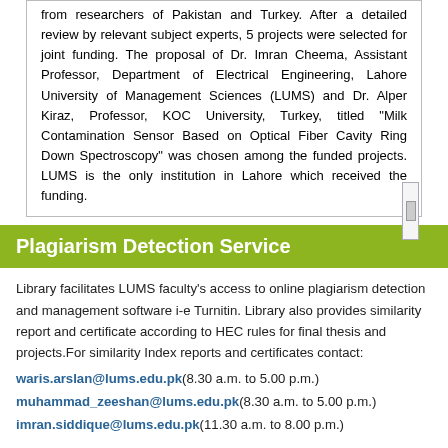from researchers of Pakistan and Turkey. After a detailed review by relevant subject experts, 5 projects were selected for joint funding. The proposal of Dr. Imran Cheema, Assistant Professor, Department of Electrical Engineering, Lahore University of Management Sciences (LUMS) and Dr. Alper Kiraz, Professor, KOC University, Turkey, titled "Milk Contamination Sensor Based on Optical Fiber Cavity Ring Down Spectroscopy" was chosen among the funded projects. LUMS is the only institution in Lahore which received the funding.
Plagiarism Detection Service
Library facilitates LUMS faculty's access to online plagiarism detection and management software i-e Turnitin. Library also provides similarity report and certificate according to HEC rules for final thesis and projects.For similarity Index reports and certificates contact:
waris.arslan@lums.edu.pk(8.30 a.m. to 5.00 p.m.)
muhammad_zeeshan@lums.edu.pk(8.30 a.m. to 5.00 p.m.)
imran.siddique@lums.edu.pk(11.30 a.m. to 8.00 p.m.)